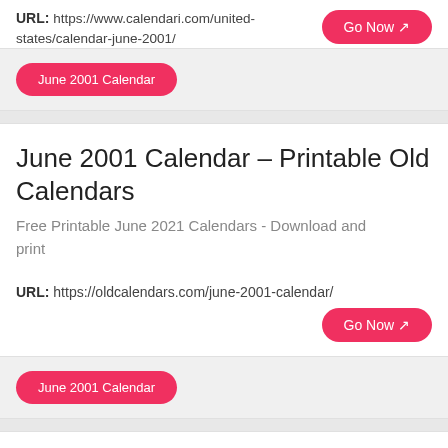URL: https://www.calendari.com/united-states/calendar-june-2001/
Go Now
June 2001 Calendar
June 2001 Calendar – Printable Old Calendars
Free Printable June 2021 Calendars - Download and print
URL: https://oldcalendars.com/june-2001-calendar/
Go Now
June 2001 Calendar
June 2001 Calendar (PDF, Word, Excel,